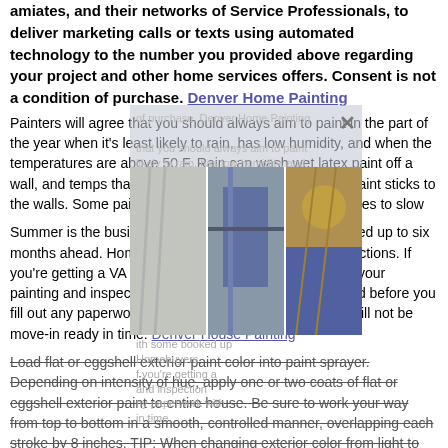amiates, and their networks of Service Professionals, to deliver marketing calls or texts using automated technology to the number you provided above regarding your project and other home services offers. Consent is not a condition of purchase. Denver Home Painting
Painters will agree that you should always aim to paint in the part of the year when it's least likely to rain, has low humidity, and when the temperatures are above 50 F. Rain can wash wet latex paint off a wall, and temps that are too low can affect the way the paint sticks to the walls. Some painters working in very high temperatures to slow...
[Figure (photo): Three photos of house painters working on exterior of homes, with a semi-transparent overlay and close button]
Summer is the busiest time for painters, with some booked up to six months ahead. Homebuyers getting VA loans have restrictions. If you're getting a VA renovation/rehabilitation loan, get all your painting and inspection estimates and work dates booked before you fill out any paperwork with a closing date, or the house will not be move-in ready in time. Denver House Painting
Load flat or eggshell exterior paint color into paint sprayer. Depending on intensity of hue, apply one or two coats of flat or eggshell exterior paint to entire house. Be sure to work your way from top to bottom in a smooth, controlled manner, overlapping each stroke by 8 inches. TIP: When changing exterior color from light to dark or dark to light, start with a